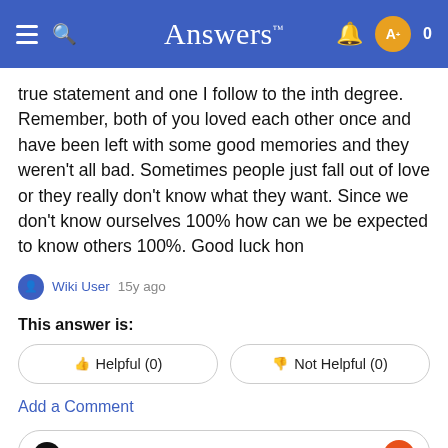Answers
true statement and one I follow to the inth degree. Remember, both of you loved each other once and have been left with some good memories and they weren't all bad. Sometimes people just fall out of love or they really don't know what they want. Since we don't know ourselves 100% how can we be expected to know others 100%. Good luck hon
Wiki User 15y ago
This answer is:
👍 Helpful (0)   👎 Not Helpful (0)
Add a Comment
Add comment...